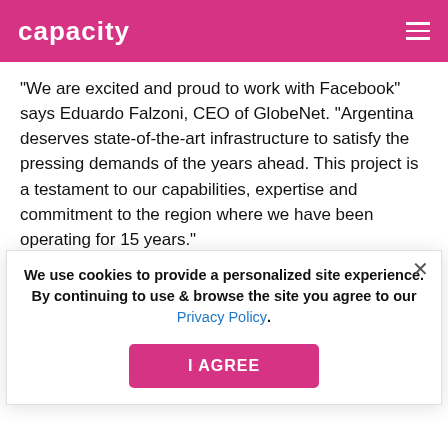capacity
“We are excited and proud to work with Facebook” says Eduardo Falzoni, CEO of GlobeNet. “Argentina deserves state-of-the-art infrastructure to satisfy the pressing demands of the years ahead. This project is a testament to our capabilities, expertise and commitment to the region where we have been operating for 15 years.”
The cable system is due to be ready for service in the first half of 2020 and GlobeNet claims it will be the first to Brazil and the US. However, it faces competition in this regard, with Seaborn Networks also launching a cable link and Brazil – ARBR.
We use cookies to provide a personalized site experience. By continuing to use & browse the site you agree to our Privacy Policy.
The 2,700km ARBR cable was announced earlier this year with an initial capacity of 40Tbps...